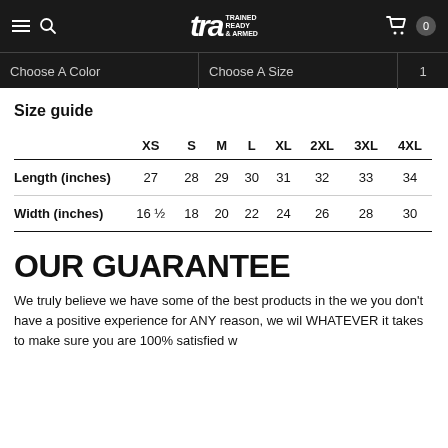TRA Trained Ready & Armed — navigation bar with Choose A Color, Choose A Size, 1
Size guide
|  | XS | S | M | L | XL | 2XL | 3XL | 4XL |
| --- | --- | --- | --- | --- | --- | --- | --- | --- |
| Length (inches) | 27 | 28 | 29 | 30 | 31 | 32 | 33 | 34 |
| Width (inches) | 16 ½ | 18 | 20 | 22 | 24 | 26 | 28 | 30 |
OUR GUARANTEE
We truly believe we have some of the best products in the we... you don't have a positive experience for ANY reason, we wil... WHATEVER it takes to make sure you are 100% satisfied w...